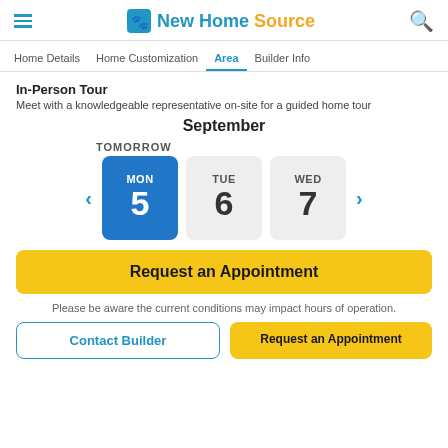NewHomeSource
Home Details | Home Customization | Area | Builder Info
In-Person Tour
Meet with a knowledgeable representative on-site for a guided home tour
September
TOMORROW
[Figure (other): Calendar date picker showing MON 5 selected (blue), TUE 6, WED 7 with left/right navigation arrows]
Request an Appointment
Please be aware the current conditions may impact hours of operation.
Contact Builder
Request an Appointment